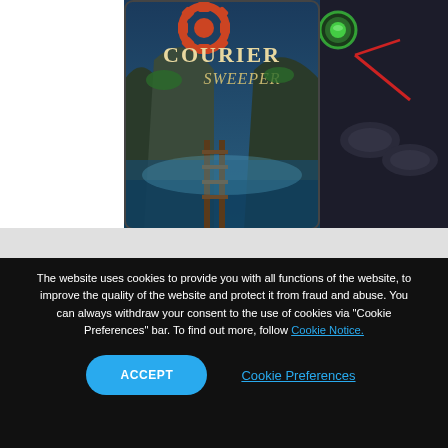[Figure (screenshot): Two game cover images partially visible at the top. Left-center shows 'Courier Sweeper' game art with a steampunk/fantasy theme. Right side shows a dark game screenshot with green and red glowing elements.]
The website uses cookies to provide you with all functions of the website, to improve the quality of the website and protect it from fraud and abuse. You can always withdraw your consent to the use of cookies via “Cookie Preferences” bar. To find out more, follow Cookie Notice.
ACCEPT
Cookie Preferences